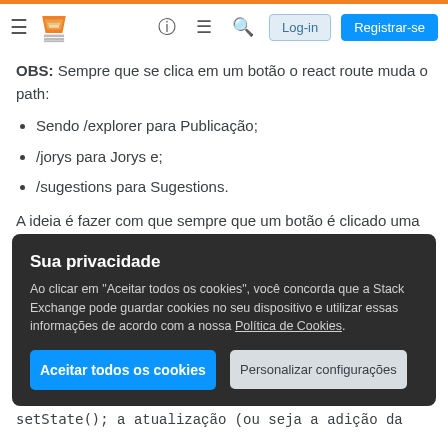Stack Overflow navigation bar with Log-in and Registrar-se buttons
OBS: Sempre que se clica em um botão o react route muda o path:
Sendo /explorer para Publicação;
/jorys para Jorys e;
/sugestions para Sugestions.
A ideia é fazer com que sempre que um botão é clicado uma classe chamada active seja adicionada ao link desse botão (e consequentemente retire essa classe dos outros
Sua privacidade
Ao clicar em "Aceitar todos os cookies", você concorda que a Stack Exchange pode guardar cookies no seu dispositivo e utilizar essas informações de acordo com a nossa Política de Cookies.
Aceitar todos os cookies | Personalizar configurações
setState(); a atualização (ou seja a adição da